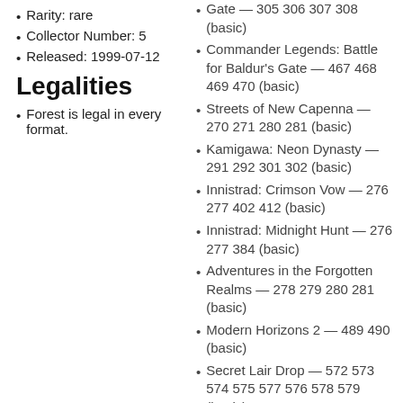Rarity: rare
Collector Number: 5
Released: 1999-07-12
Legalities
Forest is legal in every format.
Gate — 305 306 307 308 (basic)
Commander Legends: Battle for Baldur's Gate — 467 468 469 470 (basic)
Streets of New Capenna — 270 271 280 281 (basic)
Kamigawa: Neon Dynasty — 291 292 301 302 (basic)
Innistrad: Crimson Vow — 276 277 402 412 (basic)
Innistrad: Midnight Hunt — 276 277 384 (basic)
Adventures in the Forgotten Realms — 278 279 280 281 (basic)
Modern Horizons 2 — 489 490 (basic)
Secret Lair Drop — 572 573 574 575 577 576 578 579 (basic)
Strixhaven: School of Mages — 374 375 (basic)